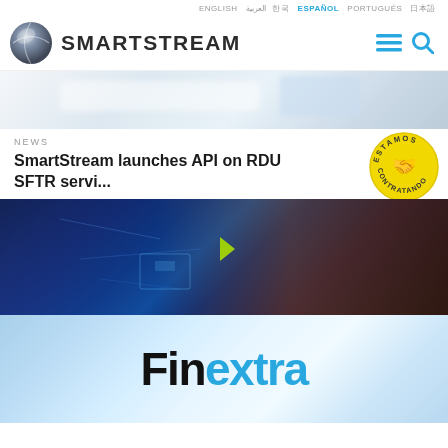ENGLISH  العربية  한국어  ESPAÑOL  PORTUGUÊS  日本語
[Figure (logo): SmartStream logo with stylized globe icon and SMARTSTREAM text, navigation hamburger and search icons]
[Figure (photo): Blurred light background banner image, top of page]
NEWS
SmartStream launches API on RDU SFTR servi...
[Figure (illustration): Yellow circular badge with text ESTAMOS CONTRATANDO and a handshake icon]
[Figure (photo): Dark technology background showing a finger touching a glowing blue digital tablet/touchscreen with circuit patterns and blue interface overlays]
[Figure (logo): Finextra logo: 'Fin' in black bold text and 'extra' in blue bold text on a light blue gradient background]